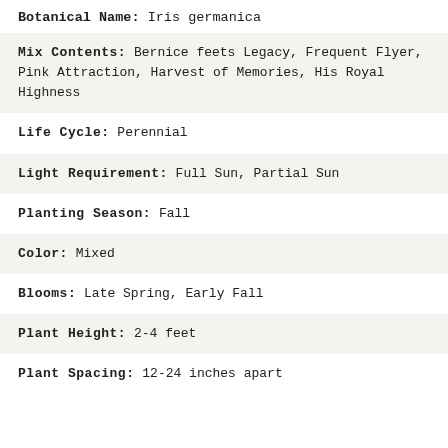Botanical Name: Iris germanica
Mix Contents: Bernice feets Legacy, Frequent Flyer, Pink Attraction, Harvest of Memories, His Royal Highness
Life Cycle: Perennial
Light Requirement: Full Sun, Partial Sun
Planting Season: Fall
Color: Mixed
Blooms: Late Spring, Early Fall
Plant Height: 2-4 feet
Plant Spacing: 12-24 inches apart